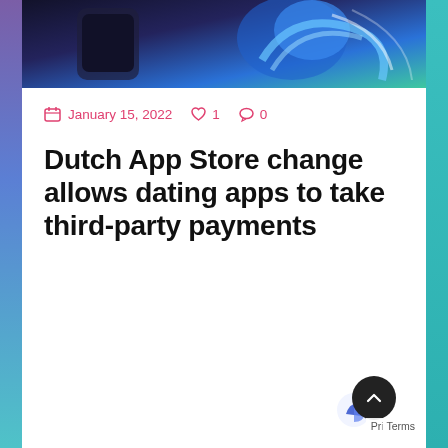[Figure (photo): Hero image showing a smartphone with a blue abstract app icon on a dark background with teal and blue gradient.]
January 15, 2022   1   0
Dutch App Store change allows dating apps to take third-party payments